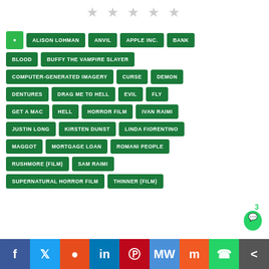[Figure (other): Five gray star rating icons at top]
ALISON LOHMAN
ANVIL
APPLE INC.
BANK
BLOOD
BUFFY THE VAMPIRE SLAYER
COMPUTER-GENERATED IMAGERY
CURSE
DEMON
DENTURES
DRAG ME TO HELL
EVIL
FLY
GET A MAC
HELL
HORROR FILM
IVAN RAIMI
JUSTIN LONG
KIRSTEN DUNST
LINDA FIORENTINO
MAGGOT
MORTGAGE LOAN
ROMANI PEOPLE
RUSHMORE (FILM)
SAM RAIMI
SUPERNATURAL HORROR FILM
THINNER (FILM)
f  Twitter  Reddit  in  Pinterest  MW  Mix  WhatsApp  Share